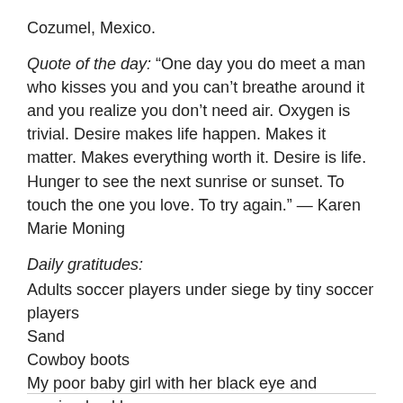Cozumel, Mexico.
Quote of the day: “One day you do meet a man who kisses you and you can’t breathe around it and you realize you don’t need air. Oxygen is trivial. Desire makes life happen. Makes it matter. Makes everything worth it. Desire is life. Hunger to see the next sunrise or sunset. To touch the one you love. To try again.” — Karen Marie Moning
Daily gratitudes:
Adults soccer players under siege by tiny soccer players
Sand
Cowboy boots
My poor baby girl with her black eye and sprained ankle
Missing MKL on days we don’t get to see each other